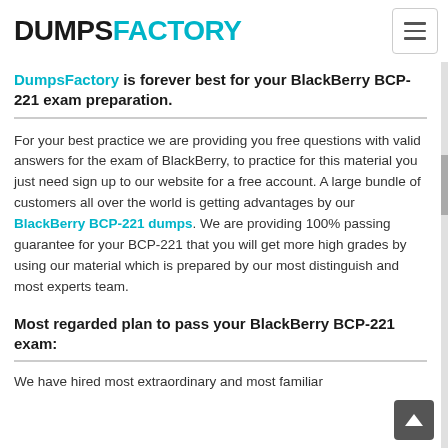DUMPSFACTORY
DumpsFactory is forever best for your BlackBerry BCP-221 exam preparation.
For your best practice we are providing you free questions with valid answers for the exam of BlackBerry, to practice for this material you just need sign up to our website for a free account. A large bundle of customers all over the world is getting advantages by our BlackBerry BCP-221 dumps. We are providing 100% passing guarantee for your BCP-221 that you will get more high grades by using our material which is prepared by our most distinguish and most experts team.
Most regarded plan to pass your BlackBerry BCP-221 exam:
We have hired most extraordinary and most familiar